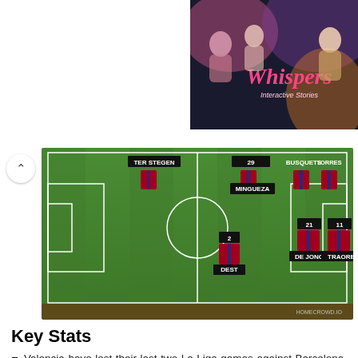[Figure (screenshot): Top-right advertisement banner for 'Whispers' game/app showing romantic imagery with stylized text]
[Figure (infographic): Football/soccer formation diagram on a green pitch showing Barcelona players: TER STEGEN (GK), MINGUEZA (29), DEST (2), BUSQUETS, DE JONG (21), TORRES, TRAORE (11). Watermark: HOMECROWD.IO]
Key Stats
Valencia have lost their last two La Liga games against Barcelona. They last lost three in a row against the Blaugrana in the competition in 2011, under Unai Emery. The Catalan giants have avoided defeat in 13 of their last 14 away La Liga games against Valencia (W6 D7) – their only loss in this period was at the Mestalla in January 2020 under Quique Setien (0-2).